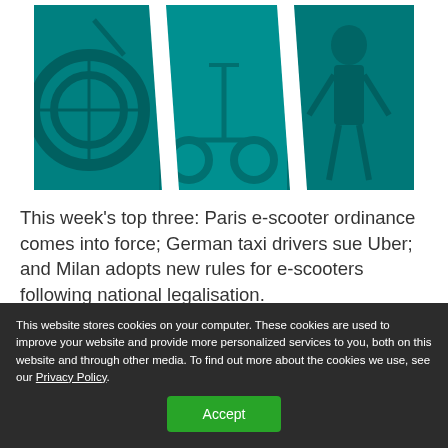[Figure (photo): A triptych of three teal/cyan tinted photos showing e-scooter and mobility scenes, separated by diagonal white lines]
This week's top three: Paris e-scooter ordinance comes into force; German taxi drivers sue Uber; and Milan adopts new rules for e-scooters following national legalisation.
This website stores cookies on your computer. These cookies are used to improve your website and provide more personalized services to you, both on this website and through other media. To find out more about the cookies we use, see our Privacy Policy.